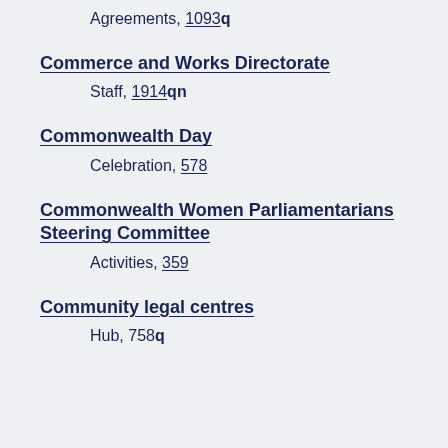Agreements, 1093q
Commerce and Works Directorate
Staff, 1914qn
Commonwealth Day
Celebration, 578
Commonwealth Women Parliamentarians Steering Committee
Activities, 359
Community legal centres
Hub, 758q